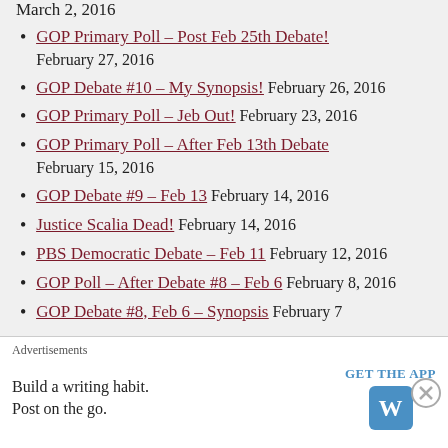March 2, 2016
GOP Primary Poll – Post Feb 25th Debate! February 27, 2016
GOP Debate #10 – My Synopsis! February 26, 2016
GOP Primary Poll – Jeb Out! February 23, 2016
GOP Primary Poll – After Feb 13th Debate February 15, 2016
GOP Debate #9 – Feb 13 February 14, 2016
Justice Scalia Dead! February 14, 2016
PBS Democratic Debate – Feb 11 February 12, 2016
GOP Poll – After Debate #8 – Feb 6 February 8, 2016
GOP Debate #8, Feb 6 – Synopsis February 7
Advertisements
Build a writing habit. Post on the go. GET THE APP